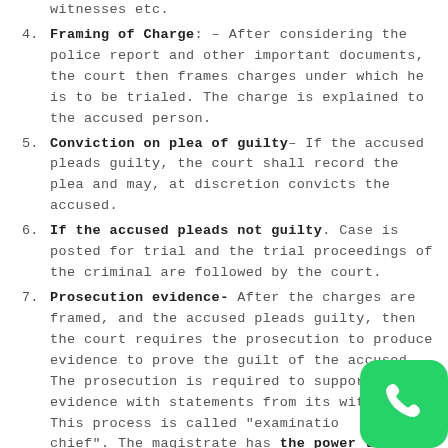witnesses etc.
Framing of Charge: – After considering the police report and other important documents, the court then frames charges under which he is to be trialed. The charge is explained to the accused person.
Conviction on plea of guilty– If the accused pleads guilty, the court shall record the plea and may, at discretion convicts the accused.
If the accused pleads not guilty. Case is posted for trial and the trial proceedings of the criminal are followed by the court.
Prosecution evidence- After the charges are framed, and the accused pleads guilty, then the court requires the prosecution to produce evidence to prove the guilt of the accused. The prosecution is required to support their evidence with statements from its witnesses. This process is called "examination in chief". The magistrate has the power to issue
[Figure (logo): WhatsApp logo icon in bottom right corner]